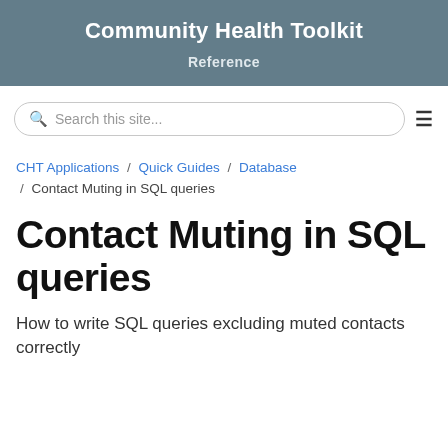Community Health Toolkit
Reference
Search this site...
CHT Applications / Quick Guides / Database / Contact Muting in SQL queries
Contact Muting in SQL queries
How to write SQL queries excluding muted contacts correctly